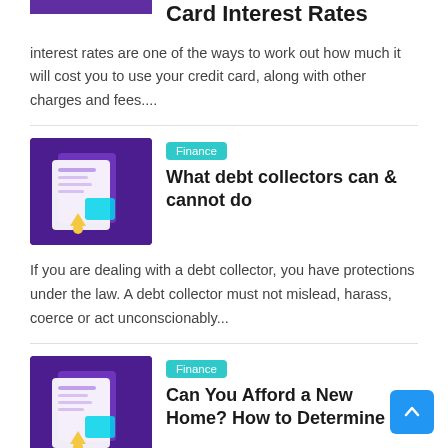[Figure (illustration): Purple themed credit card illustration (partially visible at top)]
Card Interest Rates
interest rates are one of the ways to work out how much it will cost you to use your credit card, along with other charges and fees....
[Figure (illustration): Purple themed laptop/document finance illustration with Finance badge]
Finance
What debt collectors can & cannot do
If you are dealing with a debt collector, you have protections under the law. A debt collector must not mislead, harass, coerce or act unconscionably...
[Figure (illustration): Purple themed laptop/document finance illustration with Finance badge]
Finance
Can You Afford a New Home? How to Determine